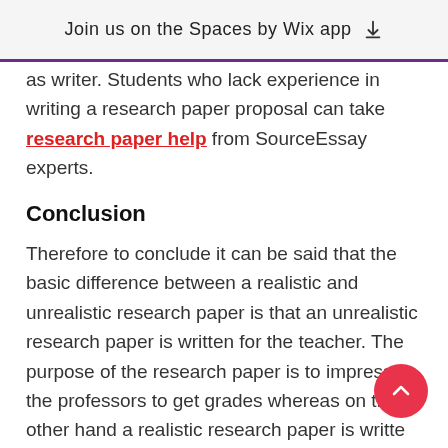Join us on the Spaces by Wix app
as writer. Students who lack experience in writing a research paper proposal can take research paper help from SourceEssay experts.
Conclusion
Therefore to conclude it can be said that the basic difference between a realistic and unrealistic research paper is that an unrealistic research paper is written for the teacher. The purpose of the research paper is to impress the professors to get grades whereas on the other hand a realistic research paper is written